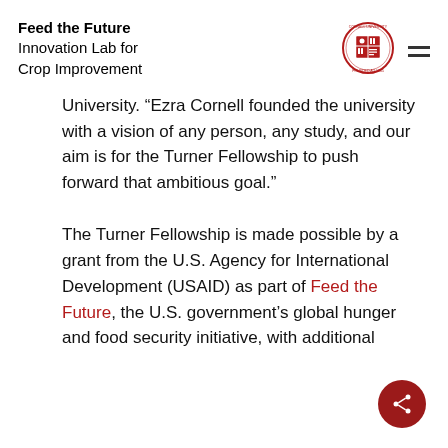Feed the Future
Innovation Lab for
Crop Improvement
University. “Ezra Cornell founded the university with a vision of any person, any study, and our aim is for the Turner Fellowship to push forward that ambitious goal.”
The Turner Fellowship is made possible by a grant from the U.S. Agency for International Development (USAID) as part of Feed the Future, the U.S. government’s global hunger and food security initiative, with additional